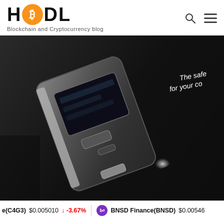HODL - Blockchain and Cryptocurrency blog
[Figure (photo): Close-up photo of a hardware cryptocurrency wallet device (appears to be a Ledger or similar) sitting on a dark box. The box has white text reading 'The safe... for your co...' (partially visible). The device has a small screen and buttons. There is a glare/reflection visible on the device.]
e(C4G3) $0.005010 ↓ -3.67%  bd  BNSD Finance(BNSD)  $0.00546